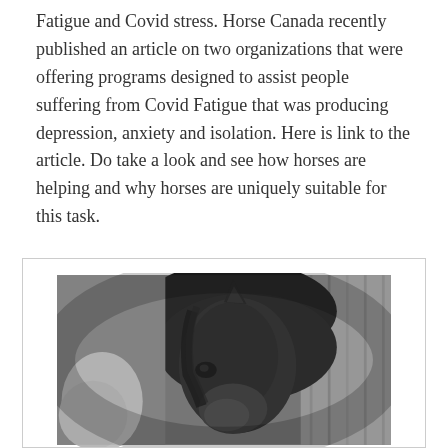Fatigue and Covid stress. Horse Canada recently published an article on two organizations that were offering programs designed to assist people suffering from Covid Fatigue that was producing depression, anxiety and isolation. Here is link to the article. Do take a look and see how horses are helping and why horses are uniquely suitable for this task.
[Figure (photo): Black and white photograph of a horse's head and face, appearing to be in a stable or barn setting. A person's hand or arm is visible in the lower left portion of the image.]